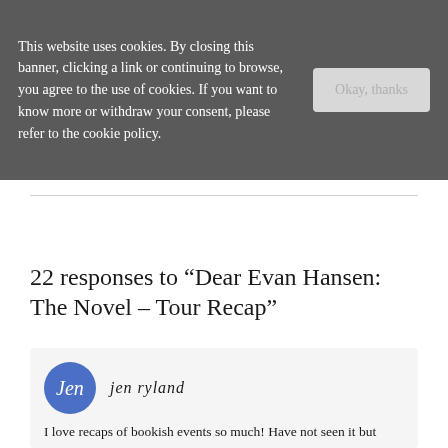This website uses cookies. By closing this banner, clicking a link or continuing to browse, you agree to the use of cookies. If you want to know more or withdraw your consent, please refer to the cookie policy.
22 responses to “Dear Evan Hansen: The Novel – Tour Recap”
jen ryland
I love recaps of bookish events so much! Have not seen it but have heard some of the songs. I have the signed ARC but have not read it